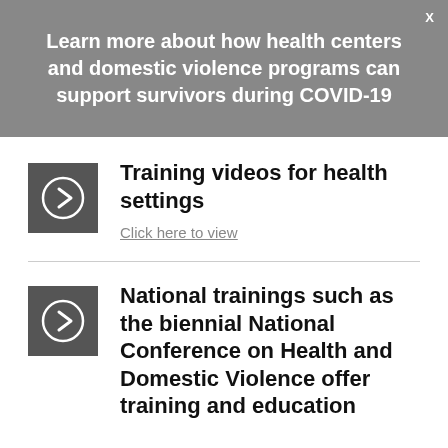Learn more about how health centers and domestic violence programs can support survivors during COVID-19
Training videos for health settings
Click here to view
National trainings such as the biennial National Conference on Health and Domestic Violence offer training and education